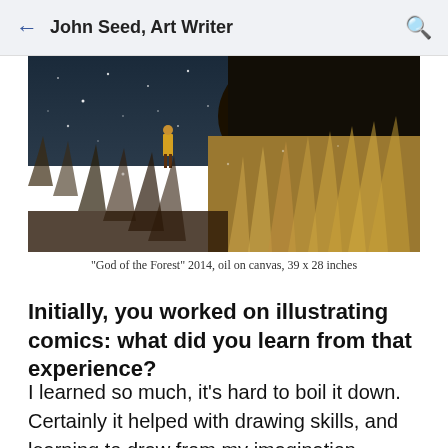John Seed, Art Writer
[Figure (photo): Painting detail showing a small figure in yellow standing in tall golden grasses under a dark blue starry night sky. Likely 'God of the Forest' 2014, oil on canvas, 39 x 28 inches.]
"God of the Forest" 2014, oil on canvas, 39 x 28 inches
Initially, you worked on illustrating comics: what did you learn from that experience?
I learned so much, it's hard to boil it down. Certainly it helped with drawing skills, and learning to draw from my imagination. Telling a